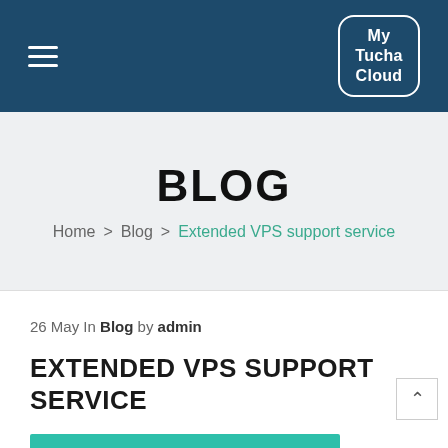My Tucha Cloud
BLOG
Home > Blog > Extended VPS support service
26 May In Blog by admin
EXTENDED VPS SUPPORT SERVICE